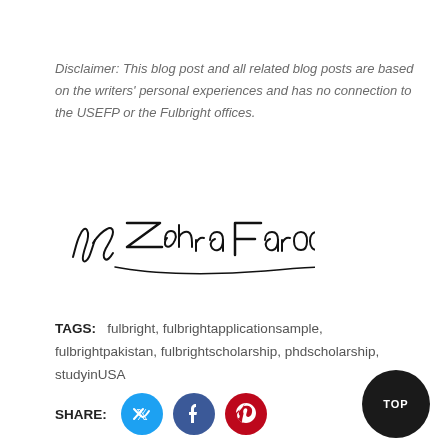Disclaimer: This blog post and all related blog posts are based on the writers' personal experiences and has no connection to the USEFP or the Fulbright offices.
[Figure (illustration): Handwritten cursive signature reading 'by Zehra Farooq' in black ink on white background]
TAGS: fulbright, fulbrightapplicationsample, fulbrightpakistan, fulbrightscholarship, phdscholarship, studyinUSA
SHARE: [Twitter icon] [Facebook icon] [Pinterest icon]